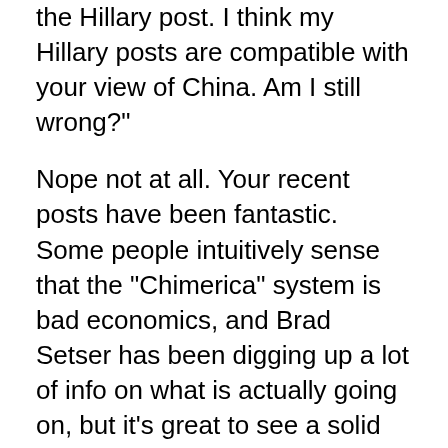the Hillary post. I think my Hillary posts are compatible with your view of China. Am I still wrong?"
Nope not at all. Your recent posts have been fantastic. Some people intuitively sense that the "Chimerica" system is bad economics, and Brad Setser has been digging up a lot of info on what is actually going on, but it's great to see a solid macro guy like yourself really breaking down the issues and applying first principles in a clear and rigorous way. Reminds me of Krugman at his best:)